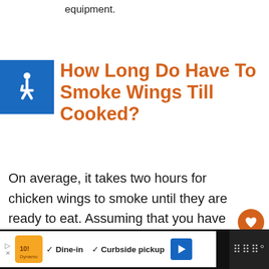equipment.
How Long Do Have To Smoke Wings Till Cooked?
On average, it takes two hours for chicken wings to smoke until they are ready to eat. Assuming that you have kept a constant temperature and the smoke has been steady. However, if you using a wood fire. It may take up to
▷ [ad logo] ✓ Dine-in ✓ Curbside pickup [navigation icon] [media icon]